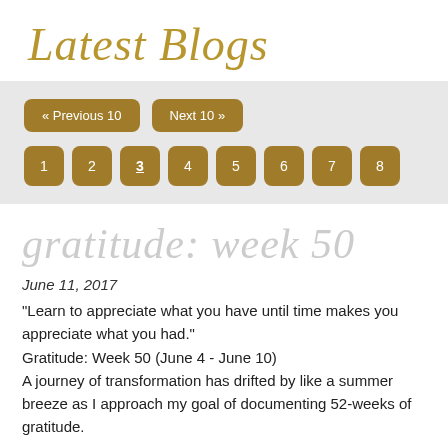Latest Blogs
[Figure (screenshot): Pagination navigation bar with Previous 10, Next 10 buttons and page number buttons 1 through 8, with page 3 highlighted/active]
gratitude: week 50
June 11, 2017
"Learn to appreciate what you have until time makes you appreciate what you had."
Gratitude: Week 50 (June 4 - June 10)
A journey of transformation has drifted by like a summer breeze as I approach my goal of documenting 52-weeks of gratitude.